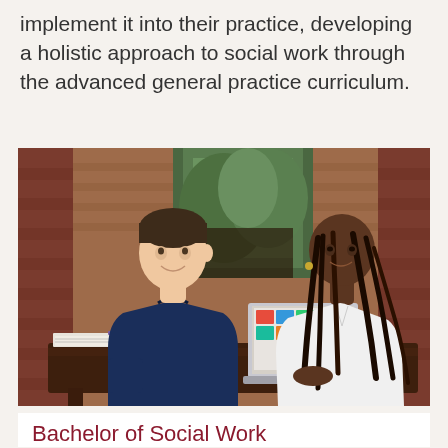implement it into their practice, developing a holistic approach to social work through the advanced general practice curriculum.
[Figure (photo): Two students sitting at an outdoor table. A young white male in a navy polo shirt on the left, and a Black female with long braided hair in a white shirt on the right with a laptop open. They appear to be in conversation outside a brick building.]
Bachelor of Social Work